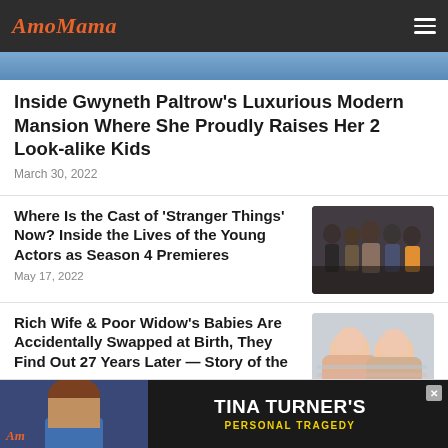AmoMama
[Figure (photo): Top portion of a photo showing Gwyneth Paltrow's mansion, partially visible as a blue-toned image strip]
Inside Gwyneth Paltrow’s Luxurious Modern Mansion Where She Proudly Raises Her 2 Look-alike Kids
March 30, 2022
Where Is the Cast of ‘Stranger Things’ Now? Inside the Lives of the Young Actors as Season 4 Premieres
May 17, 2022
[Figure (photo): Group photo of Stranger Things cast members standing together]
Rich Wife & Poor Widow’s Babies Are Accidentally Swapped at Birth, They Find Out 27 Years Later — Story of the
[Figure (photo): Photo of two sleeping babies wrapped in blankets]
[Figure (photo): Advertisement banner featuring a woman and text about Tina Turner’s Personal Tragedy]